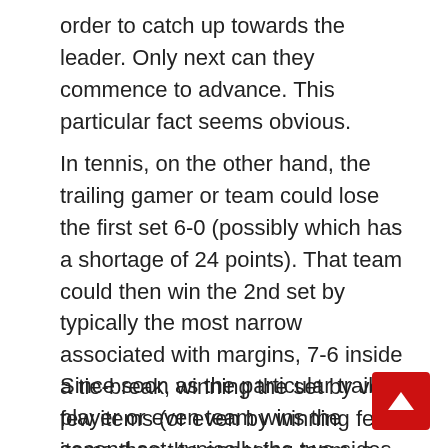order to catch up towards the leader. Only next can they commence to advance. This particular fact seems obvious.
In tennis, on the other hand, the trailing gamer or team could lose the first set 6-0 (possibly which has a shortage of 24 points). That team could then win the 2nd set by typically the most narrow associated with margins, 7-6 inside a tie-break, winning the set by very few items (or even by winning fewer items than the opposing team, a rare but probable occurrence! ).
Since soon as the particular trailing player or even team wins the second set, typically the two sides instantly have even results, even though one particular player or staff may have